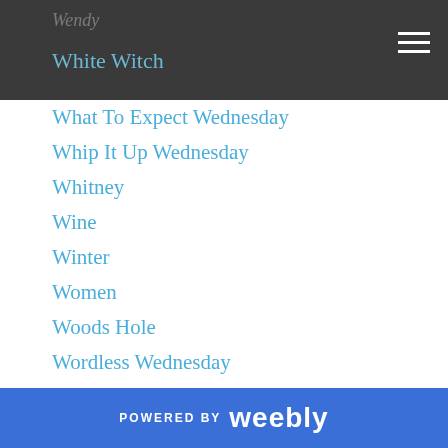Wendy
White Witch
What To Expect Wednesday
Whip It Up Wednesday
Whitney
Wine
Winter
Women
Woods Hole
Wordless Wednesday
Working Mom
Workshops
Yard Sale
Yoga
Young Children
Zip Trip
Zoo
POWERED BY weebly